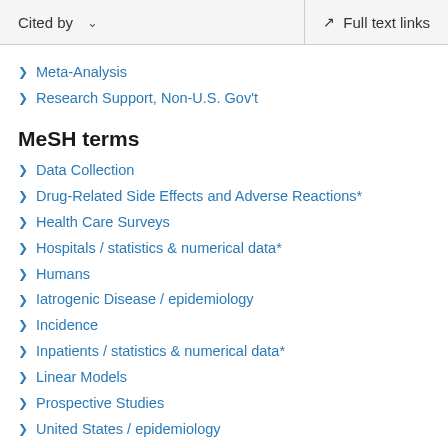Cited by   Full text links
Meta-Analysis
Research Support, Non-U.S. Gov't
MeSH terms
Data Collection
Drug-Related Side Effects and Adverse Reactions*
Health Care Surveys
Hospitals / statistics & numerical data*
Humans
Iatrogenic Disease / epidemiology
Incidence
Inpatients / statistics & numerical data*
Linear Models
Prospective Studies
United States / epidemiology